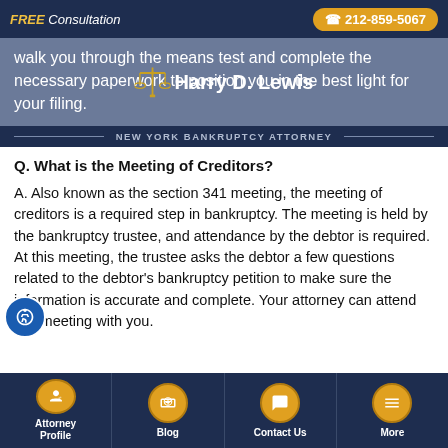FREE Consultation  ☎ 212-859-5067
walk you through the means test and complete the necessary paperwork to position you in the best light for your filing.
[Figure (logo): Harry D. Lewis New York Bankruptcy Attorney logo with gold scales of justice icon]
Q. What is the Meeting of Creditors?
A. Also known as the section 341 meeting, the meeting of creditors is a required step in bankruptcy. The meeting is held by the bankruptcy trustee, and attendance by the debtor is required. At this meeting, the trustee asks the debtor a few questions related to the debtor's bankruptcy petition to make sure the information is accurate and complete. Your attorney can attend this meeting with you.
Attorney Profile | Blog | Contact Us | More